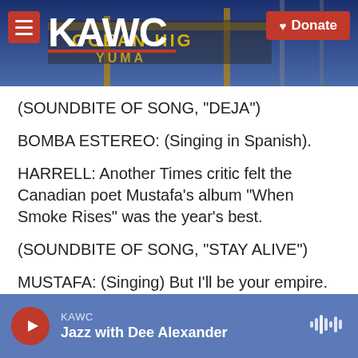[Figure (screenshot): KAWC radio station website header banner with logo, hamburger menu, and Donate button over a photo background showing a sign structure.]
(SOUNDBITE OF SONG, "DEJA")
BOMBA ESTEREO: (Singing in Spanish).
HARRELL: Another Times critic felt the Canadian poet Mustafa's album "When Smoke Rises" was the year's best.
(SOUNDBITE OF SONG, "STAY ALIVE")
MUSTAFA: (Singing) But I'll be your empire. Just stay alive. Stay alive. Stay alive.
KAWC / Jazz with Dee Alexander